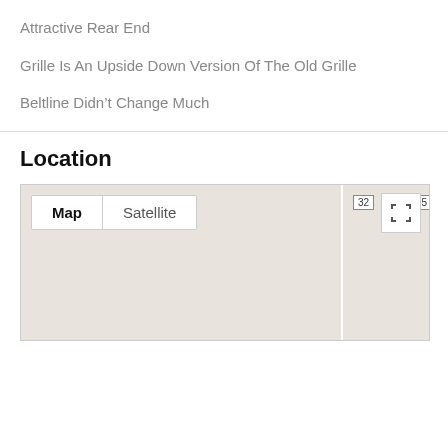Attractive Rear End
Grille Is An Upside Down Version Of The Old Grille
Beltline Didn’t Change Much
Location
[Figure (map): Google-style map view with Map/Satellite toggle buttons, a road dividing the map, road badge 32, fullscreen button, and road badge 35]